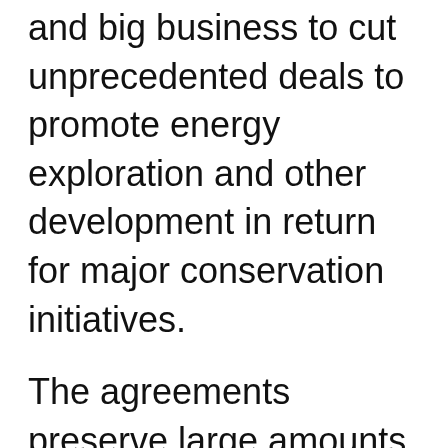and big business to cut unprecedented deals to promote energy exploration and other development in return for major conservation initiatives.
The agreements preserve large amounts of undeveloped land, impose stricter environmental practices than required by law and generate big investments in alternative energy. The deals also clear the way for oil drilling, new